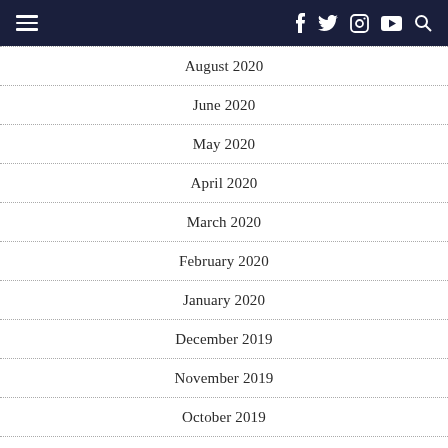Navigation header with hamburger menu and social icons (Facebook, Twitter, Instagram, YouTube, Search)
August 2020
June 2020
May 2020
April 2020
March 2020
February 2020
January 2020
December 2019
November 2019
October 2019
March 2019